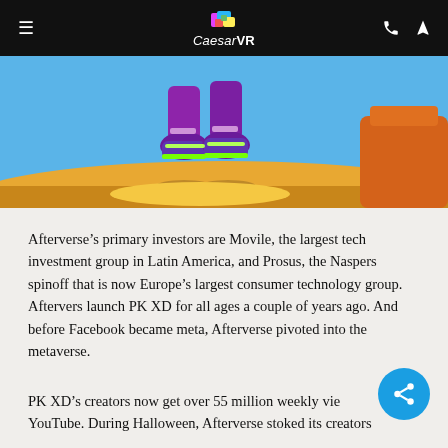CaesarVR
[Figure (illustration): Colorful 3D game character legs wearing purple shoes with green accents, jumping above a yellow-orange terrain against a blue sky background. Orange structure visible in top right corner.]
Afterverse’s primary investors are Movile, the largest tech investment group in Latin America, and Prosus, the Naspers spinoff that is now Europe’s largest consumer technology group. Aftervers launch PK XD for all ages a couple of years ago. And before Facebook became meta, Afterverse pivoted into the metaverse.
PK XD’s creators now get over 55 million weekly views on YouTube. During Halloween, Afterverse stoked its creators and recipients discords and a Playroom, to have over 2,500 video...